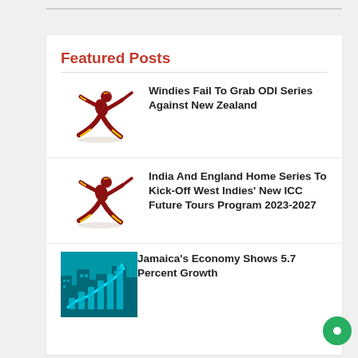Featured Posts
[Figure (illustration): West Indies cricket player silhouette in red and yellow]
Windies Fail To Grab ODI Series Against New Zealand
[Figure (illustration): West Indies cricket player silhouette in red and yellow]
India And England Home Series To Kick-Off West Indies' New ICC Future Tours Program 2023-2027
[Figure (photo): Economy photo showing financial chart with upward arrow in teal/turquoise colors]
Jamaica's Economy Shows 5.7 Percent Growth